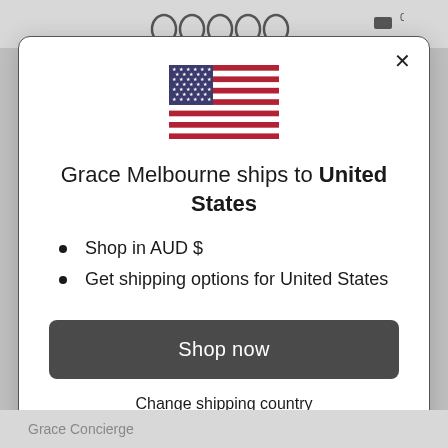[Figure (screenshot): US flag SVG illustration]
Grace Melbourne ships to United States
Shop in AUD $
Get shipping options for United States
Shop now
Change shipping country
Grace Concierge